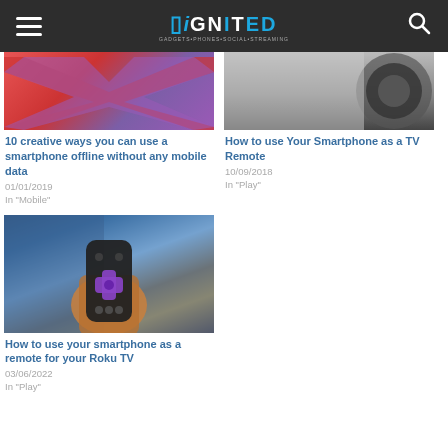iGNITED
[Figure (photo): Partially visible image showing colorful X-shaped graphic in red and purple]
10 creative ways you can use a smartphone offline without any mobile data
01/01/2019
In "Mobile"
[Figure (photo): Partially visible photo of a smartwatch or circular device on dark background]
How to use Your Smartphone as a TV Remote
10/09/2018
In "Play"
[Figure (photo): Hand holding a purple Roku remote control with a blurred TV screen in the background]
How to use your smartphone as a remote for your Roku TV
03/06/2022
In "Play"